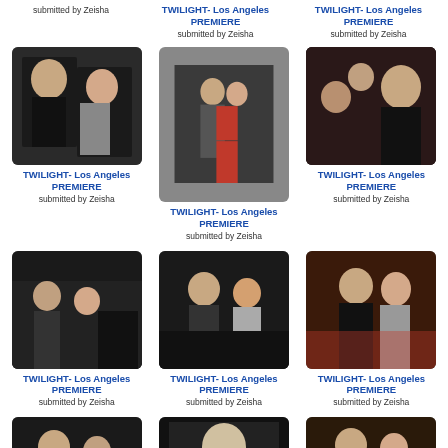[Figure (photo): Partial top row - submitted by Zeisha caption visible]
[Figure (photo): Twilight LA Premiere photo top center partial]
[Figure (photo): Twilight LA Premiere photo top right partial]
[Figure (photo): Twilight LA Premiere - Robert Pattinson and Kristen Stewart close-up]
TWILIGHT- Los Angeles PREMIERE
submitted by Zeisha
[Figure (photo): Twilight LA Premiere - couple full length in formal wear]
TWILIGHT- Los Angeles PREMIERE
submitted by Zeisha
[Figure (photo): Twilight LA Premiere - fans and celebrity at event]
TWILIGHT- Los Angeles PREMIERE
submitted by Zeisha
[Figure (photo): Twilight LA Premiere - crowd and autograph signing]
TWILIGHT- Los Angeles PREMIERE
submitted by Zeisha
[Figure (photo): Twilight LA Premiere - signing autographs closeup]
TWILIGHT- Los Angeles PREMIERE
submitted by Zeisha
[Figure (photo): Twilight LA Premiere - Robert and Kristen at premiere with crowd]
TWILIGHT- Los Angeles PREMIERE
submitted by Zeisha
[Figure (photo): Twilight LA Premiere bottom row left - couple at event]
[Figure (photo): Twilight movie poster or promotional image]
[Figure (photo): Twilight LA Premiere bottom row right - couple at event]